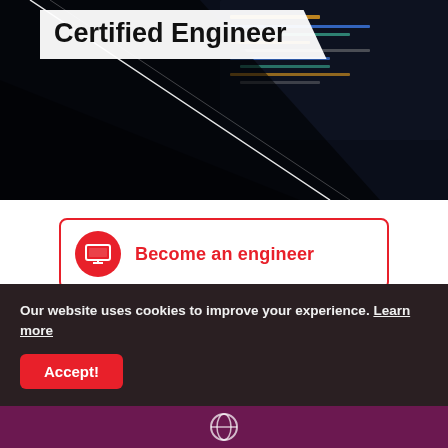[Figure (photo): Hero image of a laptop screen showing code in a dark environment, with a diagonal white geometric overlay]
Certified Engineer
[Figure (infographic): Red-bordered button with red circle laptop icon and text 'Become an engineer' in red]
At the Linux Foundation Training Program, enjoy content and training from Linux community leaders and top developers from the open-source communities.
Our website uses cookies to improve your experience. Learn more
Accept!